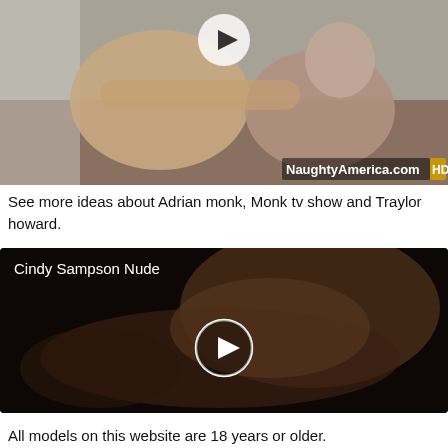[Figure (photo): Video thumbnail showing two people, with NaughtyAmerica.com HD watermark and play button overlay]
See more ideas about Adrian monk, Monk tv show and Traylor howard.
[Figure (photo): Video thumbnail labeled 'Cindy Sampson Nude' showing a dark scene with a play button overlay]
All models on this website are 18 years or older.